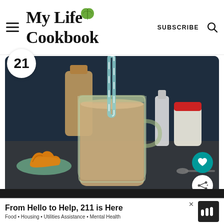My Life Cookbook — SUBSCRIBE
[Figure (photo): A glass mason jar mug filled with a tan/brown smoothie, with a blue and white striped straw. Background shows a bottle of vanilla, a spice jar with red lid, a plate with orange squash/pumpkin, on a dark blue-gray surface.]
21
From Hello to Help, 211 is Here
Food • Housing • Utilities Assistance • Mental Health